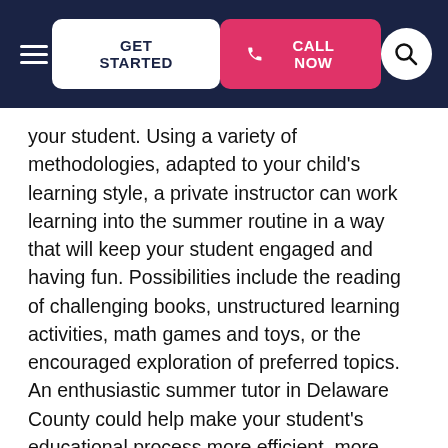GET STARTED | CALL NOW
your student. Using a variety of methodologies, adapted to your child's learning style, a private instructor can work learning into the summer routine in a way that will keep your student engaged and having fun. Possibilities include the reading of challenging books, unstructured learning activities, math games and toys, or the encouraged exploration of preferred topics. An enthusiastic summer tutor in Delaware County could help make your student's educational process more efficient, more enjoyable, and less stressful.
While students enjoy total summer flexibility, parents usually don't. It can be hard to organize your child's schedule around responsibilities at work and elsewhere. Luckily, flexibility is also a hallmark of the private tutoring experience. You could arrange